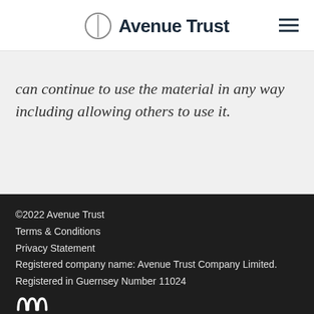Avenue Trust
can continue to use the material in any way including allowing others to use it.
©2022 Avenue Trust
Terms & Conditions
Privacy Statement
Registered company name: Avenue Trust Company Limited. Registered in Guernsey Number 11024